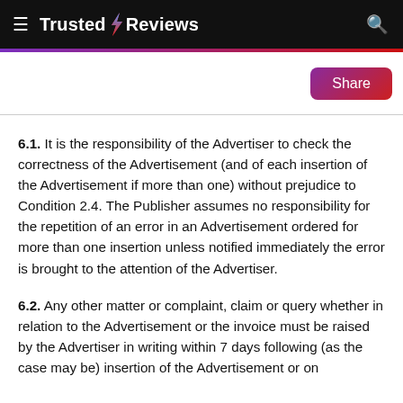Trusted Reviews
6.1. It is the responsibility of the Advertiser to check the correctness of the Advertisement (and of each insertion of the Advertisement if more than one) without prejudice to Condition 2.4. The Publisher assumes no responsibility for the repetition of an error in an Advertisement ordered for more than one insertion unless notified immediately the error is brought to the attention of the Advertiser.
6.2. Any other matter or complaint, claim or query whether in relation to the Advertisement or the invoice must be raised by the Advertiser in writing within 7 days following (as the case may be) insertion of the Advertisement or on